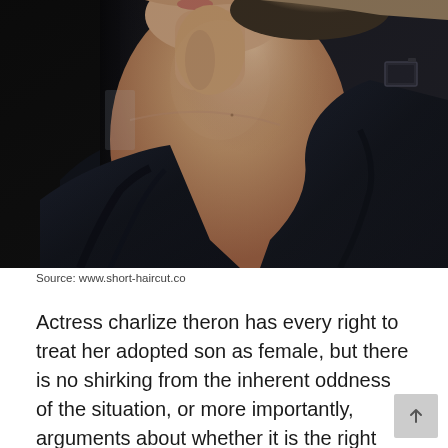[Figure (photo): Close-up photograph of a woman with blonde hair pulled back, wearing a dark navy/black v-neck top, photographed from below the chin showing neck and décolletage area, dark background]
Source: www.short-haircut.co
Actress charlize theron has every right to treat her adopted son as female, but there is no shirking from the inherent oddness of the situation, or more importantly, arguments about whether it is the right parenting decision.